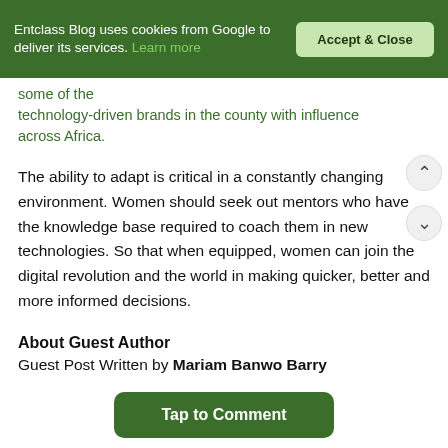Entclass Blog uses cookies from Google to deliver its services. Learn more
some of the technology-driven brands in the county with influence across Africa.
The ability to adapt is critical in a constantly changing environment. Women should seek out mentors who have the knowledge base required to coach them in new technologies. So that when equipped, women can join the digital revolution and the world in making quicker, better and more informed decisions.
About Guest Author
Guest Post Written by Mariam Banwo Barry